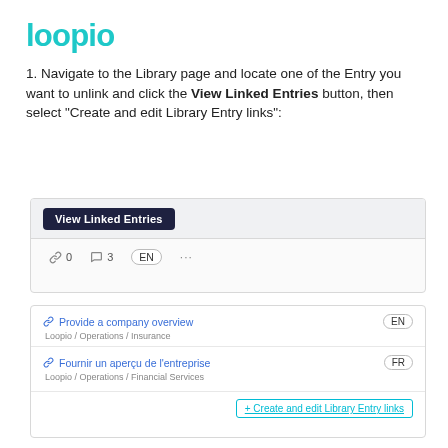[Figure (logo): Loopio logo in teal/cyan color]
1. Navigate to the Library page and locate one of the Entry you want to unlink and click the View Linked Entries button, then select "Create and edit Library Entry links":
[Figure (screenshot): Screenshot showing View Linked Entries button with a toolbar row showing link icon 0, comment icon 3, EN language tag, and ellipsis menu]
[Figure (screenshot): Screenshot showing dropdown panel with two entries: 'Provide a company overview' (EN, path: Loopio / Operations / Insurance) and 'Fournir un aperçu de l'entreprise' (FR, path: Loopio / Operations / Financial Services), with a '+ Create and edit Library Entry links' button at the bottom]